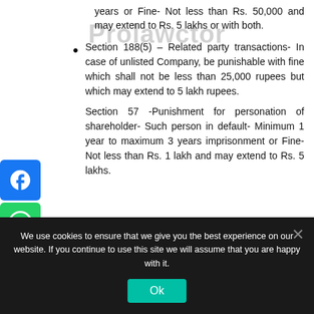years or Fine- Not less than Rs. 50,000 and may extend to Rs. 5 lakhs or with both.
[Figure (logo): Prolawctor watermark text overlaid on page content]
Section 188(5) – Related party transactions- In case of unlisted Company, be punishable with fine which shall not be less than 25,000 rupees but which may extend to 5 lakh rupees.
Section 57 -Punishment for personation of shareholder- Such person in default- Minimum 1 year to maximum 3 years imprisonment or Fine- Not less than Rs. 1 lakh and may extend to Rs. 5 lakhs.
[Figure (infographic): Social media share icons: Facebook, WhatsApp, LinkedIn, Telegram, Share]
We use cookies to ensure that we give you the best experience on our website. If you continue to use this site we will assume that you are happy with it.